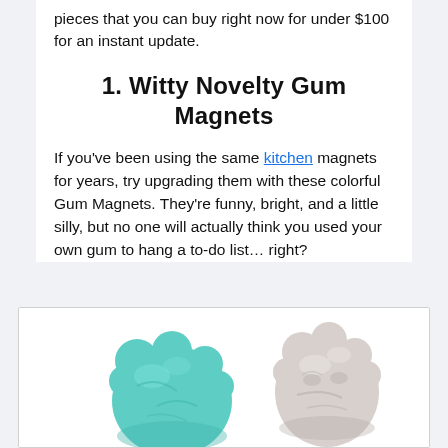pieces that you can buy right now for under $100 for an instant update.
1. Witty Novelty Gum Magnets
If you've been using the same kitchen magnets for years, try upgrading them with these colorful Gum Magnets. They're funny, bright, and a little silly, but no one will actually think you used your own gum to hang a to-do list… right?
[Figure (photo): Two novelty gum-shaped magnets: one teal/mint colored on the left and one white/gray colored on the right, both showing textured organic lumpy shapes resembling chewed gum with faces.]